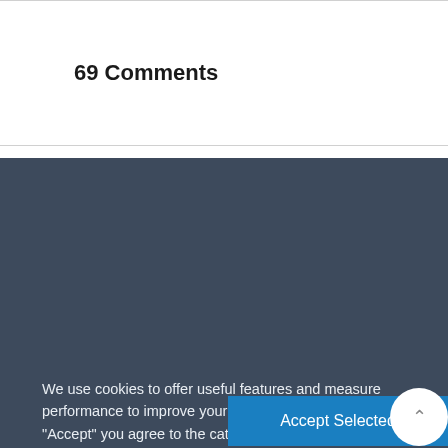69 Comments
We use cookies to offer useful features and measure performance to improve your experience. By clicking "Accept" you agree to the categories of cookies you have selected. You can find further information here.
Necessary   Analytics   More info
Accept Selected